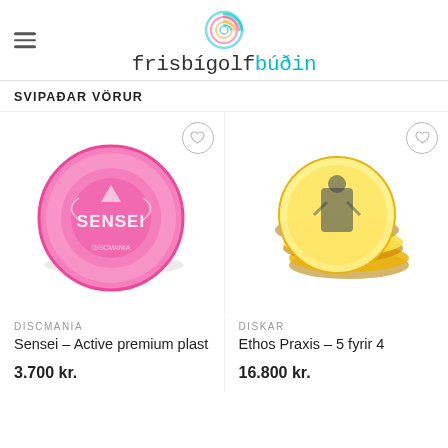Frisbígolfbúðin
SVIPAÐAR VÖRUR
[Figure (photo): Pink Discmania Sensei disc golf disc, Active premium plastic, viewed from above]
[Figure (photo): Three yellow Ethos Praxis disc golf discs stacked slightly, viewed from the side]
DISCMANIA
Sensei – Active premium plast
3.700 kr.
DISKAR
Ethos Praxis – 5 fyrir 4
16.800 kr.